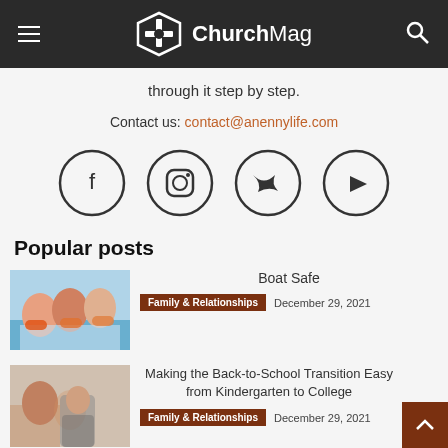ChurchMag
through it step by step.
Contact us: contact@anennylife.com
[Figure (other): Four social media icon circles: Facebook, Instagram, Twitter, YouTube]
Popular posts
[Figure (photo): Children on a boat wearing life jackets, arms raised]
Boat Safe
Family & Relationships  December 29, 2021
[Figure (photo): Mother and child near a laundry machine]
Making the Back-to-School Transition Easy from Kindergarten to College
Family & Relationships  December 29, 2021